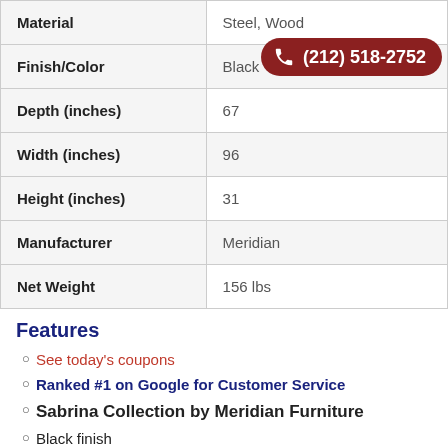| Attribute | Value |
| --- | --- |
| Material | Steel, Wood |
| Finish/Color | Black |
| Depth (inches) | 67 |
| Width (inches) | 96 |
| Height (inches) | 31 |
| Manufacturer | Meridian |
| Net Weight | 156 lbs |
Features
See today's coupons
Ranked #1 on Google for Customer Service
Sabrina Collection by Meridian Furniture
Black finish
Deep tufted back
Reversible chaise